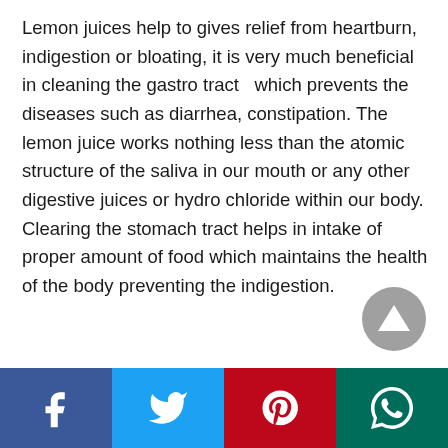Lemon juices help to gives relief from heartburn, indigestion or bloating, it is very much beneficial in cleaning the gastro tract  which prevents the diseases such as diarrhea, constipation. The lemon juice works nothing less than the atomic structure of the saliva in our mouth or any other digestive juices or hydro chloride within our body. Clearing the stomach tract helps in intake of proper amount of food which maintains the health of the body preventing the indigestion.
[Figure (other): Grey circular scroll-to-top button with upward triangle arrow]
[Figure (other): Social media share bar with Facebook, Twitter, Pinterest, and WhatsApp buttons]